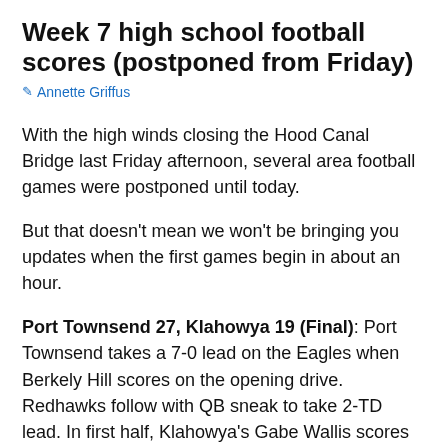Week 7 high school football scores (postponed from Friday)
Annette Griffus
With the high winds closing the Hood Canal Bridge last Friday afternoon, several area football games were postponed until today.
But that doesn't mean we won't be bringing you updates when the first games begin in about an hour.
Port Townsend 27, Klahowya 19 (Final): Port Townsend takes a 7-0 lead on the Eagles when Berkely Hill scores on the opening drive. Redhawks follow with QB sneak to take 2-TD lead. In first half, Klahowya's Gabe Wallis scores on an 85-yard kickoff return to cut into PT lead. In 3rd, Wallis scored on 1-